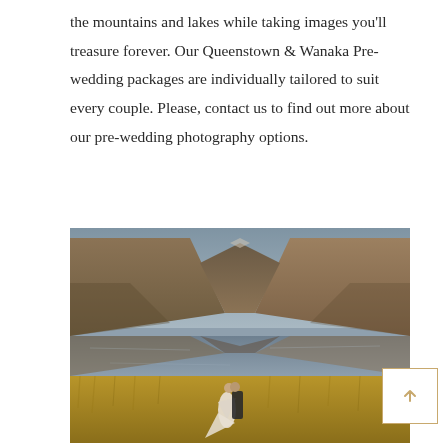the mountains and lakes while taking images you'll treasure forever. Our Queenstown & Wanaka Pre-wedding packages are individually tailored to suit every couple. Please, contact us to find out more about our pre-wedding photography options.
[Figure (photo): A couple kissing in a golden grass field with a still mountain lake behind them, reflecting the brown hills and overcast sky. New Zealand landscape.]